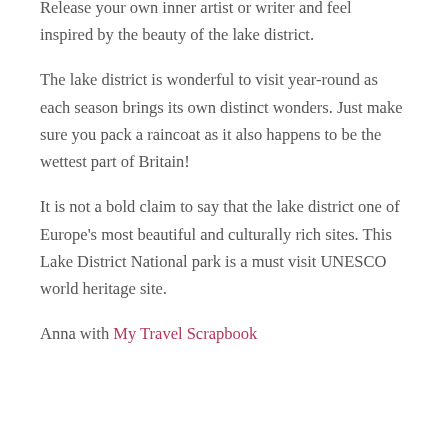Release your own inner artist or writer and feel inspired by the beauty of the lake district.
The lake district is wonderful to visit year-round as each season brings its own distinct wonders. Just make sure you pack a raincoat as it also happens to be the wettest part of Britain!
It is not a bold claim to say that the lake district one of Europe's most beautiful and culturally rich sites. This Lake District National park is a must visit UNESCO world heritage site.
Anna with My Travel Scrapbook